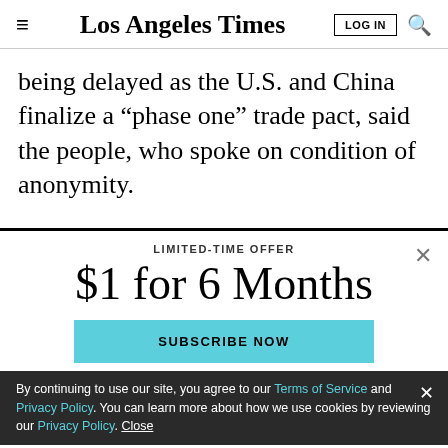Los Angeles Times — LOG IN
being delayed as the U.S. and China finalize a “phase one” trade pact, said the people, who spoke on condition of anonymity.
LIMITED-TIME OFFER
$1 for 6 Months
SUBSCRIBE NOW
By continuing to use our site, you agree to our Terms of Service and Privacy Policy. You can learn more about how we use cookies by reviewing our Privacy Policy. Close